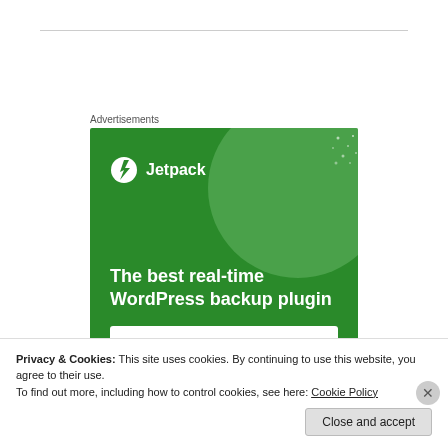Advertisements
[Figure (illustration): Jetpack advertisement banner on green background showing Jetpack logo, headline 'The best real-time WordPress backup plugin' and a 'Back up your site' CTA button]
Privacy & Cookies: This site uses cookies. By continuing to use this website, you agree to their use.
To find out more, including how to control cookies, see here: Cookie Policy
Close and accept